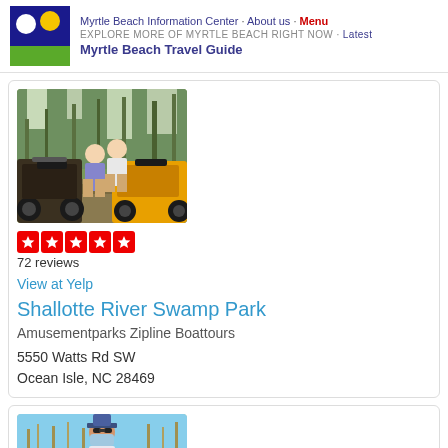Myrtle Beach Information Center · About us · Menu
EXPLORE MORE OF MYRTLE BEACH RIGHT NOW · Latest
Myrtle Beach Travel Guide
[Figure (photo): Two people standing near ATVs in a wooded outdoor area]
72 reviews
View at Yelp
Shallotte River Swamp Park
Amusementparks Zipline Boattours
5550 Watts Rd SW
Ocean Isle, NC 28469
[Figure (photo): Person wearing a hat and face covering in a marsh/field setting]